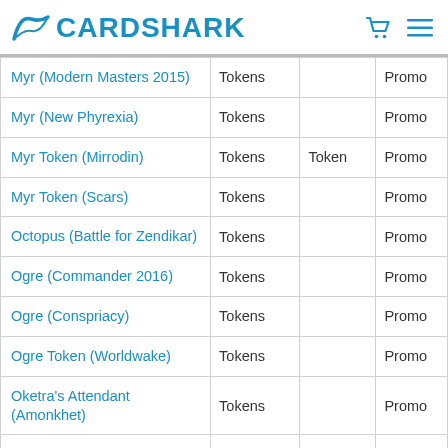CARDSHARK
|  |  |  |  |
| --- | --- | --- | --- |
| Myr (Modern Masters 2015) | Tokens |  | Promo |
| Myr (New Phyrexia) | Tokens |  | Promo |
| Myr Token (Mirrodin) | Tokens | Token | Promo |
| Myr Token (Scars) | Tokens |  | Promo |
| Octopus (Battle for Zendikar) | Tokens |  | Promo |
| Ogre (Commander 2016) | Tokens |  | Promo |
| Ogre (Conspriacy) | Tokens |  | Promo |
| Ogre Token (Worldwake) | Tokens |  | Promo |
| Oketra's Attendant (Amonkhet) | Tokens |  | Promo |
| Ooze (Innistrad) | Tokens |  | Promo |